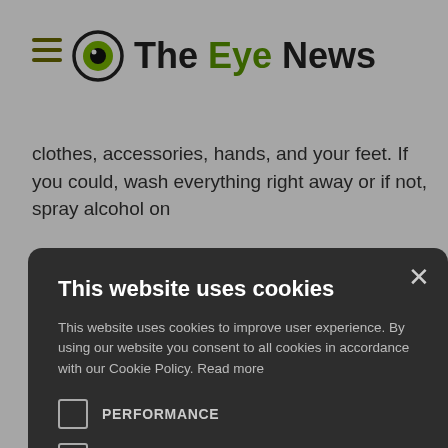The Eye News
clothes, accessories, hands, and your feet. If you could, wash everything right away or if not, spray alcohol on ... d things.
... es? Dr. Horn ... and water. ... ith water ... soap and then ... ose pads, ... ofiber cloth
This website uses cookies
This website uses cookies to improve user experience. By using our website you consent to all cookies in accordance with our Cookie Policy. Read more
PERFORMANCE
TARGETING
ACCEPT ALL
DECLINE ALL
SHOW DETAILS
hing your sunglasses with soap and water, you can spray alcohol o...